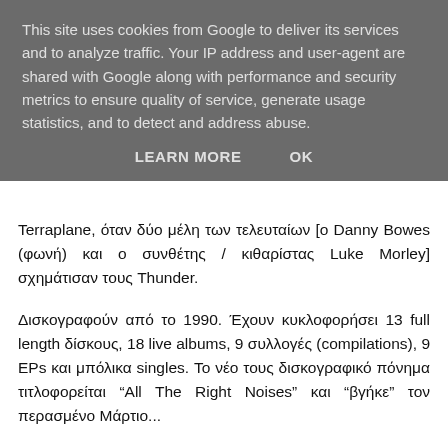This site uses cookies from Google to deliver its services and to analyze traffic. Your IP address and user-agent are shared with Google along with performance and security metrics to ensure quality of service, generate usage statistics, and to detect and address abuse.
LEARN MORE   OK
Terraplane, όταν δύο μέλη των τελευταίων [ο Danny Bowes (φωνή) και ο συνθέτης / κιθαρίστας Luke Morley] σχημάτισαν τους Thunder.
Δισκογραφούν από το 1990. Έχουν κυκλοφορήσει 13 full length δίσκους, 18 live albums, 9 συλλογές (compilations), 9 EPs και μπόλικα singles. Το νέο τους δισκογραφικό πόνημα τιτλοφορείται "All The Right Noises" και "βγήκε" τον περασμένο Μάρτιο...
Δελτίο τύπου: «Thunder return with their 13th studio album 'All The Right Noises' on 12th March 2021. It's a return to the full-throttle sound of Thunder that has seen them carve out a hugely successful 30+ year career at the forefront of British